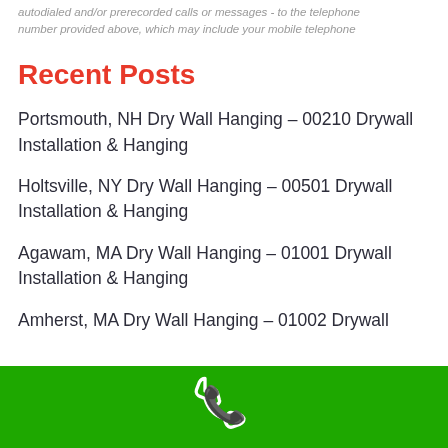autodialed and/or prerecorded calls or messages - to the telephone number provided above, which may include your mobile telephone
Recent Posts
Portsmouth, NH Dry Wall Hanging – 00210 Drywall Installation & Hanging
Holtsville, NY Dry Wall Hanging – 00501 Drywall Installation & Hanging
Agawam, MA Dry Wall Hanging – 01001 Drywall Installation & Hanging
Amherst, MA Dry Wall Hanging – 01002 Drywall
[Figure (other): Green phone bar with white telephone handset icon at the bottom of the page]